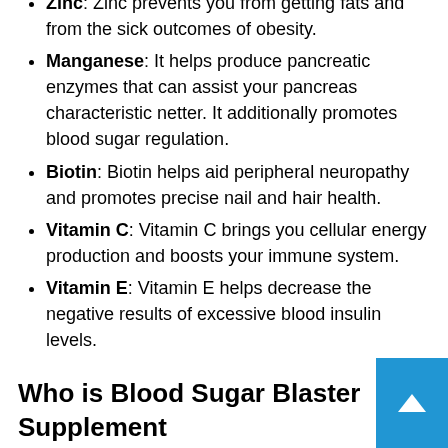Zinc: Zinc prevents you from getting fats and from the sick outcomes of obesity.
Manganese: It helps produce pancreatic enzymes that can assist your pancreas characteristic netter. It additionally promotes blood sugar regulation.
Biotin: Biotin helps aid peripheral neuropathy and promotes precise nail and hair health.
Vitamin C: Vitamin C brings you cellular energy production and boosts your immune system.
Vitamin E: Vitamin E helps decrease the negative results of excessive blood insulin levels.
Who is Blood Sugar Blaster Supplement for?